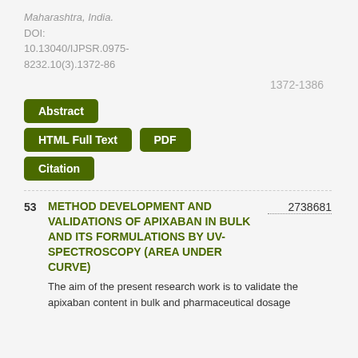Maharashtra, India.
DOI: 10.13040/IJPSR.0975-8232.10(3).1372-86
1372-1386
[Figure (other): Green buttons: Abstract, HTML Full Text, PDF, Citation]
53 METHOD DEVELOPMENT AND VALIDATIONS OF APIXABAN IN BULK AND ITS FORMULATIONS BY UV-SPECTROSCOPY (AREA UNDER CURVE)
2738681
The aim of the present research work is to validate the apixaban content in bulk and pharmaceutical dosage